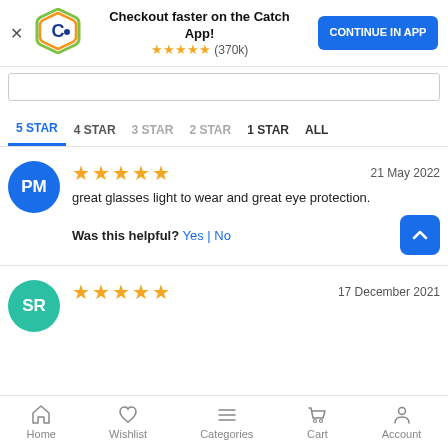[Figure (screenshot): Catch app promotional banner with logo, text 'Checkout faster on the Catch App!', 5 star rating (370k), and 'CONTINUE IN APP' button]
5 STAR  4 STAR  3 STAR  2 STAR  1 STAR  ALL
★★★★★  21 May 2022
great glasses light to wear and great eye protection.
Was this helpful? Yes | No
★★★★★  17 December 2021